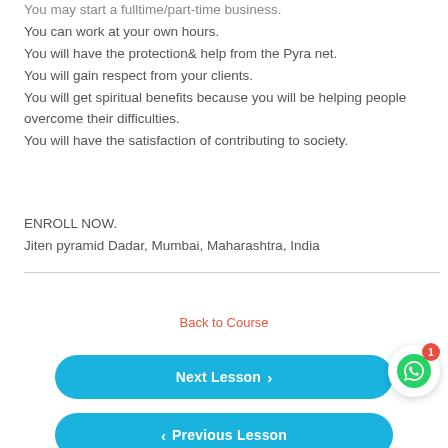You may start a fulltime/part-time business.
You can work at your own hours.
You will have the protection& help from the Pyra net.
You will gain respect from your clients.
You will get spiritual benefits because you will be helping people overcome their difficulties.
You will have the satisfaction of contributing to society.
ENROLL NOW.
Jiten pyramid Dadar, Mumbai, Maharashtra, India
Back to Course
Next Lesson ›
‹ Previous Lesson